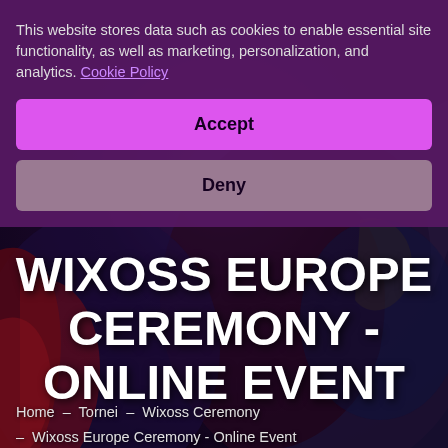[Figure (screenshot): Hero background image showing anime/game characters in dark fantasy art style with blue, red and purple tones]
WIXOSS EUROPE CEREMONY - ONLINE EVENT
Home – Tornei – Wixoss Ceremony – Wixoss Europe Ceremony - Online Event
This website stores data such as cookies to enable essential site functionality, as well as marketing, personalization, and analytics. Cookie Policy
Accept
Deny